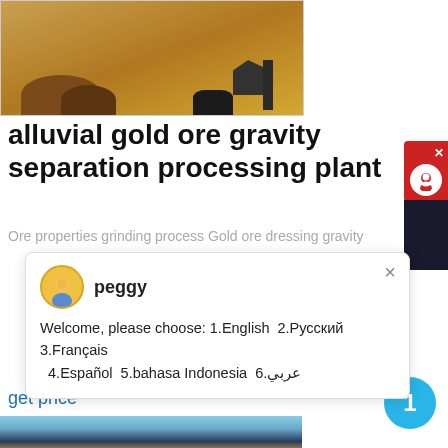[Figure (photo): Alluvial gold ore processing plant outdoor site with dirt mounds and heavy machinery on sandy ground]
alluvial gold ore gravity separation processing plant
Ore properties grinding process Gold ore dressing gravity
[Figure (infographic): Chat popup widget with avatar of 'peggy' and welcome message in multiple languages: Welcome, please choose: 1.English 2.Русский 3.Français 4.Español 5.bahasa Indonesia 6.عربي]
get price
[Figure (photo): Blue industrial ore processing machinery/plant structure]